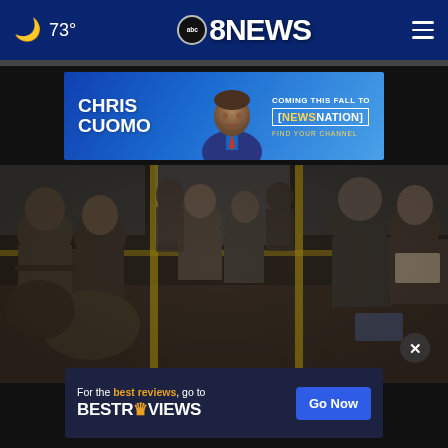🌙 73° — abc8NEWS — ≡
[Figure (screenshot): Advertisement banner for Chris Cuomo coming to NewsNation this fall]
[Figure (photo): People in military fatigues seated inside a bus]
[Figure (screenshot): Advertisement banner for BestReviews - 'For the best reviews, go to BESTREVIEWS - Go Now']